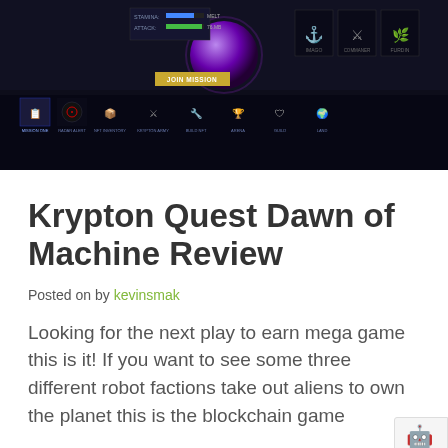[Figure (screenshot): Screenshot of Krypton Quest game UI showing stats (STAMINA, ATTACK), a purple planet, character icons (IMAGO, COMMANER, FURDIN), a JOIN MISSION button, and navigation bar with icons for MISSION ONE, RADAR ALERT, NFT INVENTORY, KRYPTON ARMY, BUILD NFT, ARENA, GUILD, LAND]
Krypton Quest Dawn of Machine Review
Posted on by kevinsmak
Looking for the next play to earn mega game this is it! If you want to see some three different robot factions take out aliens to own the planet this is the blockchain game